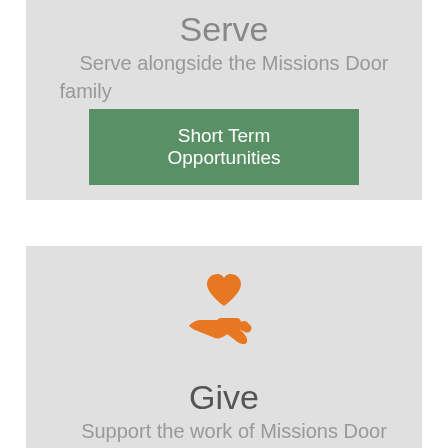Serve
Serve alongside the Missions Door family
Short Term Opportunities
[Figure (illustration): Orange heart above an open hand icon representing giving/donation]
Give
Support the work of Missions Door though your donations